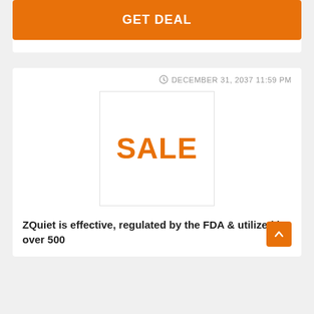GET DEAL
DECEMBER 31, 2037 11:59 PM
[Figure (other): White square box with orange bold text 'SALE' centered inside]
ZQuiet is effective, regulated by the FDA & utilized by over 500